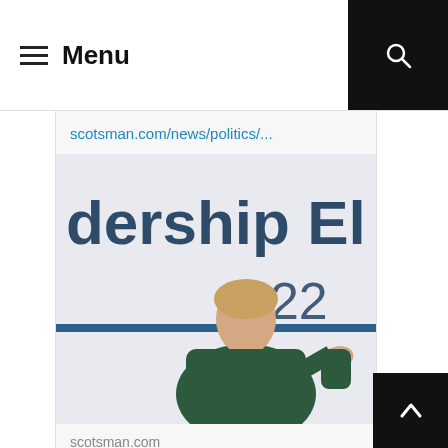Menu
scotsman.com/news/politics/...
[Figure (photo): Liz Truss seated in front of a 'Leadership Election 2022' backdrop, gesturing with her hand]
scotsman.com
Scottish independence: Liz Truss says she will 'never,...
8 likes
Rebecca ... @.. · Aug 16
That is an extremely